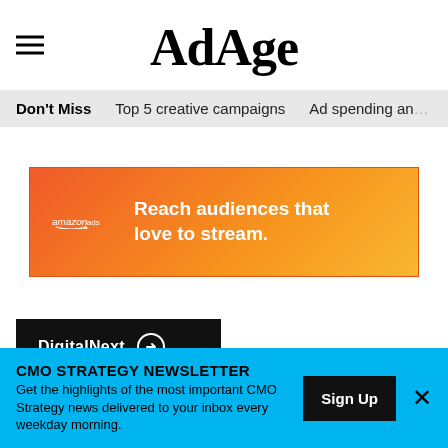AdAge
Don't Miss   Top 5 creative campaigns   Ad spending and…
[Figure (illustration): Amazon Ads banner advertisement with gradient orange background. Text reads: 'amazon ads' with smile logo and 'Reach audiences that love to stream.']
[Figure (logo): DigitalNext logo badge on black background with arrow circle icon]
HOW MARKETERS CAN IMPROVE
CMO STRATEGY NEWSLETTER
Get the highlights of the most important CMO Strategy news delivered to your inbox every weekday morning.